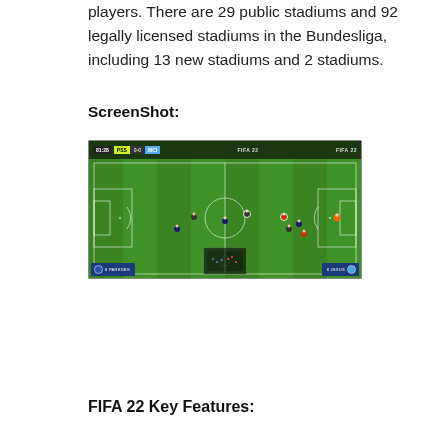players. There are 29 public stadiums and 92 legally licensed stadiums in the Bundesliga, including 13 new stadiums and 2 stadiums.
ScreenShot:
[Figure (screenshot): FIFA 22 gameplay screenshot showing a football match between PSG and MCI on a green pitch with player figures, HUD elements including score (0-0), time (81:28), team names, player badges for PAREDES and JESUS, and a minimap at the bottom center.]
FIFA 22 Key Features: